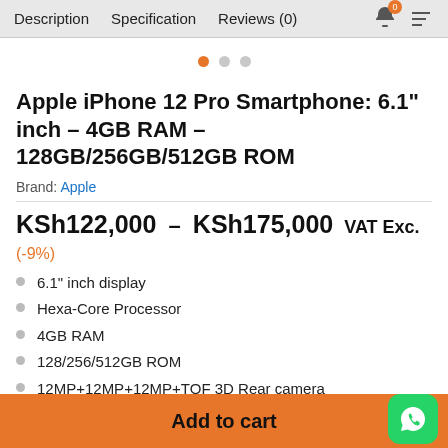Description  Specification  Reviews (0)
[Figure (infographic): Pagination dots: one orange (active) and two grey (inactive) dots indicating image carousel position]
Apple iPhone 12 Pro Smartphone: 6.1" inch – 4GB RAM – 128GB/256GB/512GB ROM
Brand: Apple
KSh122,000 – KSh175,000 VAT Exc. (-9%)
6.1" inch display
Hexa-Core Processor
4GB RAM
128/256/512GB ROM
12MP+12MP+12MP+TOF 3D Rear camera
Add to cart